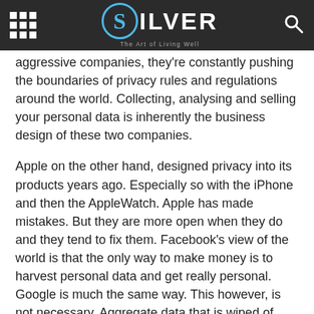SILVER The Art of Living Well
aggressive companies, they're constantly pushing the boundaries of privacy rules and regulations around the world. Collecting, analysing and selling your personal data is inherently the business design of these two companies.
Apple on the other hand, designed privacy into its products years ago. Especially so with the iPhone and then the AppleWatch. Apple has made mistakes. But they are more open when they do and they tend to fix them. Facebook's view of the world is that the only way to make money is to harvest personal data and get really personal. Google is much the same way. This however, is not necessary. Aggregate data that is wiped of personally identifiable data is still perfectly valuable and perhaps more so.
But for Facebook and Google to stop being so invasive would mean a massive overhaul of their software and very business practices. They are multi-billion corporations. The cost to do this would be